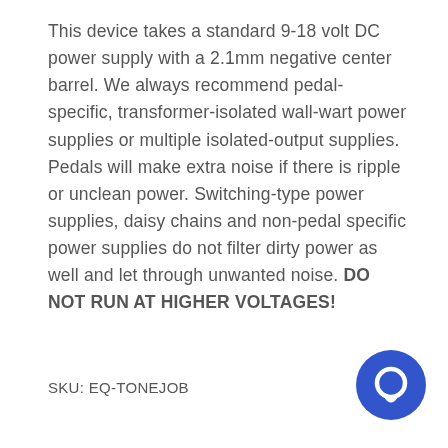This device takes a standard 9-18 volt DC power supply with a 2.1mm negative center barrel. We always recommend pedal-specific, transformer-isolated wall-wart power supplies or multiple isolated-output supplies. Pedals will make extra noise if there is ripple or unclean power. Switching-type power supplies, daisy chains and non-pedal specific power supplies do not filter dirty power as well and let through unwanted noise. DO NOT RUN AT HIGHER VOLTAGES!
SKU: EQ-TONEJOB